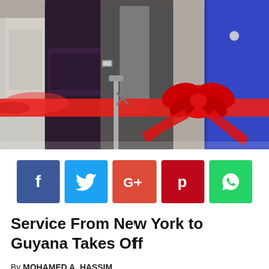[Figure (photo): Ribbon cutting ceremony with several people standing behind a red ribbon with a large red bow. A man in a grey suit is at the center, flanked by women in purple/blue dresses. The scene appears to be an official opening event.]
[Figure (infographic): Row of five social media share buttons: Facebook (dark blue, f), Twitter (light blue, bird), Google+ (red-orange, G+), Pinterest (dark red, P), WhatsApp (green, phone)]
Service From New York to Guyana Takes Off
By MOHAMED A. HASSIM